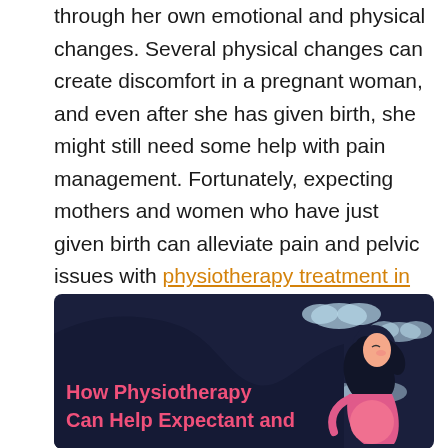through her own emotional and physical changes. Several physical changes can create discomfort in a pregnant woman, and even after she has given birth, she might still need some help with pain management. Fortunately, expecting mothers and women who have just given birth can alleviate pain and pelvic issues with physiotherapy treatment in Toronto. Let's take a closer look at the health benefits of why physiotherapy is important during and after pregnancy.
[Figure (infographic): Infographic with dark navy background showing a stylized pregnant woman silhouette and text 'How Physiotherapy Can Help Expectant and' in pink/coral color on the bottom left. Light blue cloud shapes in background.]